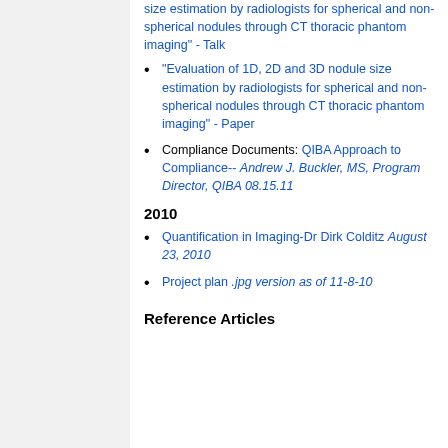size estimation by radiologists for spherical and non-spherical nodules through CT thoracic phantom imaging" - Talk
"Evaluation of 1D, 2D and 3D nodule size estimation by radiologists for spherical and non-spherical nodules through CT thoracic phantom imaging" - Paper
Compliance Documents: QIBA Approach to Compliance-- Andrew J. Buckler, MS, Program Director, QIBA 08.15.11
2010
Quantification in Imaging-Dr Dirk Colditz August 23, 2010
Project plan .jpg version as of 11-8-10
Reference Articles